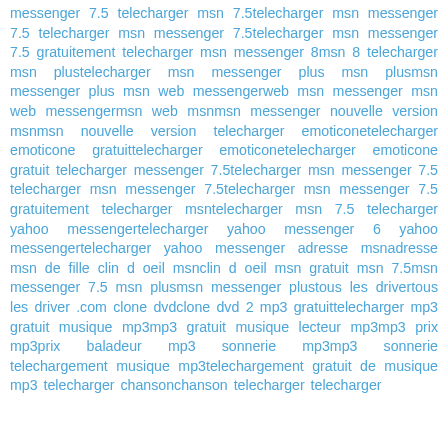messenger 7.5 telecharger msn 7.5telecharger msn messenger 7.5 telecharger msn messenger 7.5telecharger msn messenger 7.5 gratuitement telecharger msn messenger 8msn 8 telecharger msn plustelecharger msn messenger plus msn plusmsn messenger plus msn web messengerweb msn messenger msn web messengermsn web msnmsn messenger nouvelle version msnmsn nouvelle version telecharger emoticonetelecharger emoticone gratuittelecharger emoticonetelecharger emoticone gratuit telecharger messenger 7.5telecharger msn messenger 7.5 telecharger msn messenger 7.5telecharger msn messenger 7.5 gratuitement telecharger msntelecharger msn 7.5 telecharger yahoo messengertelecharger yahoo messenger 6 yahoo messengertelecharger yahoo messenger adresse msnadresse msn de fille clin d oeil msnclin d oeil msn gratuit msn 7.5msn messenger 7.5 msn plusmsn messenger plustous les drivertous les driver .com clone dvdclone dvd 2 mp3 gratuittelecharger mp3 gratuit musique mp3mp3 gratuit musique lecteur mp3mp3 prix mp3prix baladeur mp3 sonnerie mp3mp3 sonnerie telechargement musique mp3telechargement gratuit de musique mp3 telecharger chansonchanson telecharger telecharger